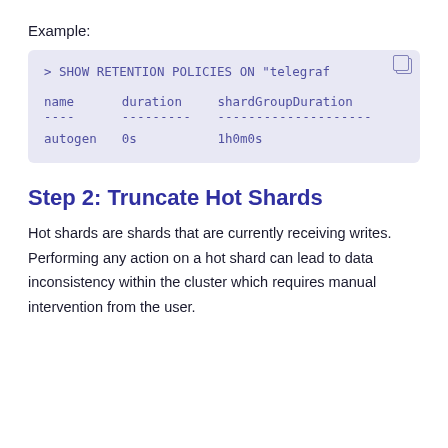Example:
[Figure (screenshot): Code block showing command: > SHOW RETENTION POLICIES ON "telegraf" with tabular output showing columns: name, duration, shardGroupDuration with row: autogen, 0s, 1h0m0s]
Step 2: Truncate Hot Shards
Hot shards are shards that are currently receiving writes. Performing any action on a hot shard can lead to data inconsistency within the cluster which requires manual intervention from the user.